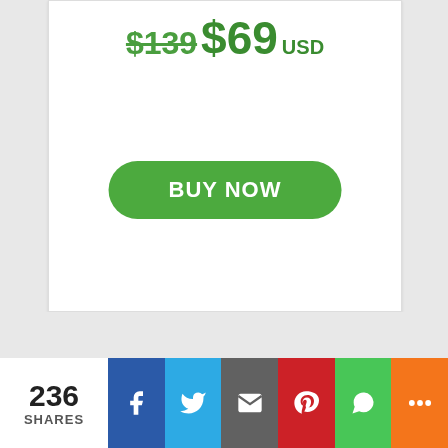$139 $69 USD
[Figure (other): BUY NOW green rounded button]
[Figure (other): Partial avatar/profile image in gray circle]
236 SHARES
[Figure (other): Social share bar with Facebook, Twitter, Email, Pinterest, WhatsApp, More icons]